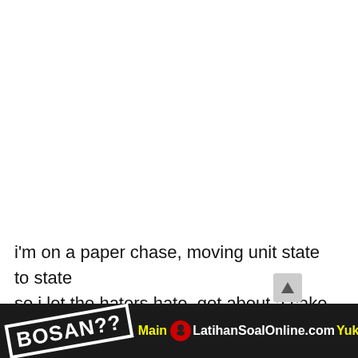i'm on a paper chase, moving unit state to state
so i let the haters hate, got about a cake to make
money on the mind, moving at a greater pace
[Figure (infographic): Black bottom banner with BOSAN?? stamp logo on left, Main LatihanSoalOnline.com Yuk! text in center, and a child's face on the right]